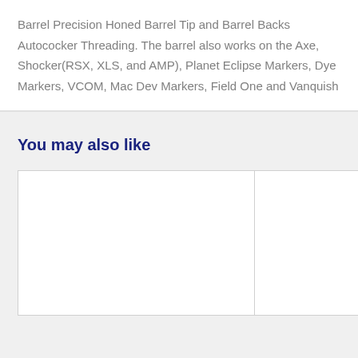Barrel Precision Honed Barrel Tip and Barrel Backs Autococker Threading. The barrel also works on the Axe, Shocker(RSX, XLS, and AMP), Planet Eclipse Markers, Dye Markers, VCOM, Mac Dev Markers, Field One and Vanquish
You may also like